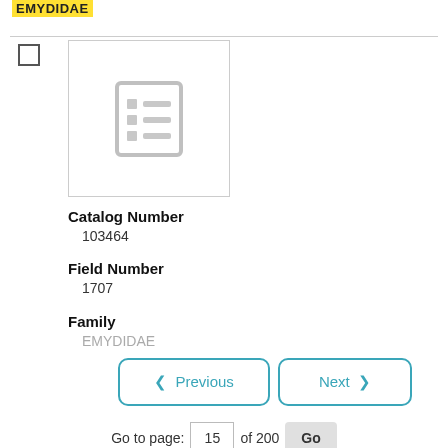EMYDIDAE
[Figure (illustration): Thumbnail placeholder icon showing a document/list icon in gray on white background with border]
Catalog Number
103464
Field Number
1707
Family
EMYDIDAE
< Previous    Next >
Go to page: 15 of 200 Go